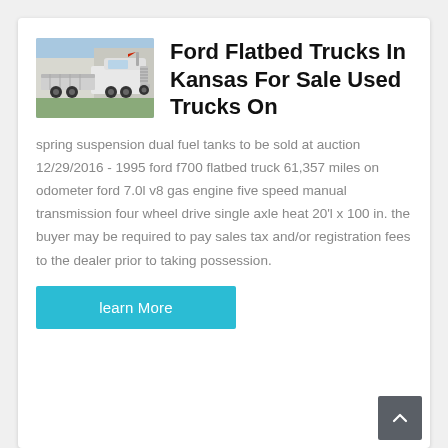[Figure (photo): White flatbed truck / semi-truck parked outdoors, side view, blue sky and greenery in background]
Ford Flatbed Trucks In Kansas For Sale Used Trucks On
spring suspension dual fuel tanks to be sold at auction 12/29/2016 - 1995 ford f700 flatbed truck 61,357 miles on odometer ford 7.0l v8 gas engine five speed manual transmission four wheel drive single axle heat 20'l x 100 in. the buyer may be required to pay sales tax and/or registration fees to the dealer prior to taking possession.
learn More